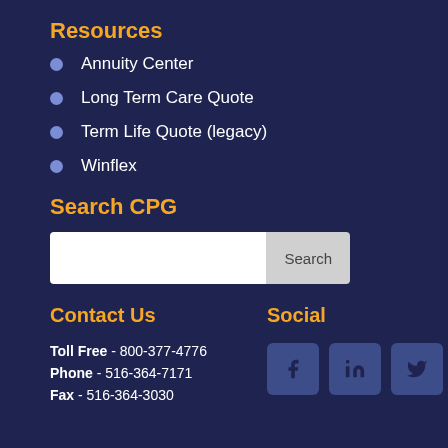Resources
Annuity Center
Long Term Care Quote
Term Life Quote (legacy)
Winflex
Search CPG
Contact Us
Social
Toll Free - 800-377-4776
Phone - 516-364-7171
Fax - 516-364-3030